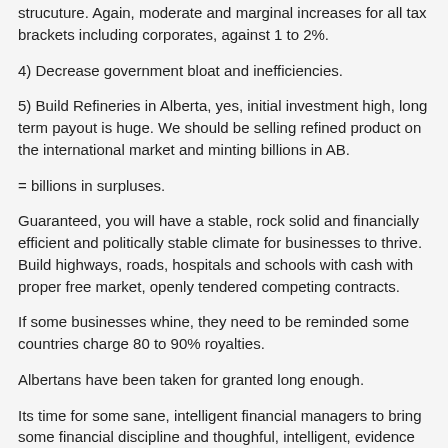strucuture. Again, moderate and marginal increases for all tax brackets including corporates, against 1 to 2%.
4) Decrease government bloat and inefficiencies.
5) Build Refineries in Alberta, yes, initial investment high, long term payout is huge. We should be selling refined product on the international market and minting billions in AB.
= billions in surpluses.
Guaranteed, you will have a stable, rock solid and financially efficient and politically stable climate for businesses to thrive. Build highways, roads, hospitals and schools with cash with proper free market, openly tendered competing contracts.
If some businesses whine, they need to be reminded some countries charge 80 to 90% royalties.
Albertans have been taken for granted long enough.
Its time for some sane, intelligent financial managers to bring some financial discipline and thoughful, intelligent, evidence based spending.
Financial sovereignty of AB and Canada has been at risk